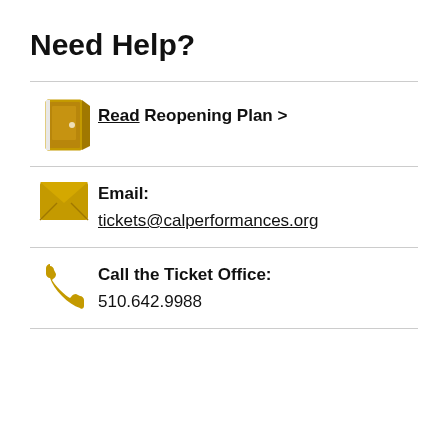Need Help?
Read Reopening Plan >
Email: tickets@calperformances.org
Call the Ticket Office: 510.642.9988